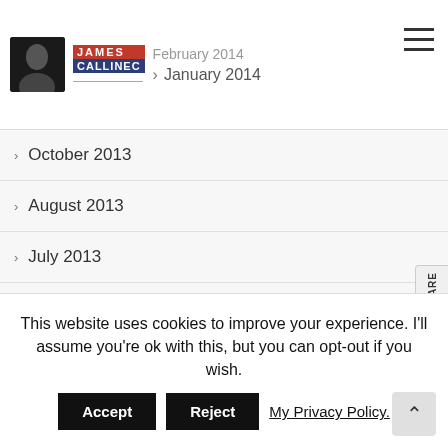February 2014 / January 2014
October 2013
August 2013
July 2013
June 2013
May 2013
September 2012
August 2012
July 2012
June 2012
May 2012
April 2012
This website uses cookies to improve your experience. I'll assume you're ok with this, but you can opt-out if you wish.